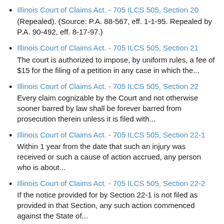Illinois Court of Claims Act. - 705 ILCS 505, Section 20
(Repealed). (Source: P.A. 88-567, eff. 1-1-95. Repealed by P.A. 90-492, eff. 8-17-97.)
Illinois Court of Claims Act. - 705 ILCS 505, Section 21
The court is authorized to impose, by uniform rules, a fee of $15 for the filing of a petition in any case in which the...
Illinois Court of Claims Act. - 705 ILCS 505, Section 22
Every claim cognizable by the Court and not otherwise sooner barred by law shall be forever barred from prosecution therein unless it is filed with...
Illinois Court of Claims Act. - 705 ILCS 505, Section 22-1
Within 1 year from the date that such an injury was received or such a cause of action accrued, any person who is about...
Illinois Court of Claims Act. - 705 ILCS 505, Section 22-2
If the notice provided for by Section 22-1 is not filed as provided in that Section, any such action commenced against the State of...
Illinois Court of Claims Act. - 705 ILCS 505, Section 22-...